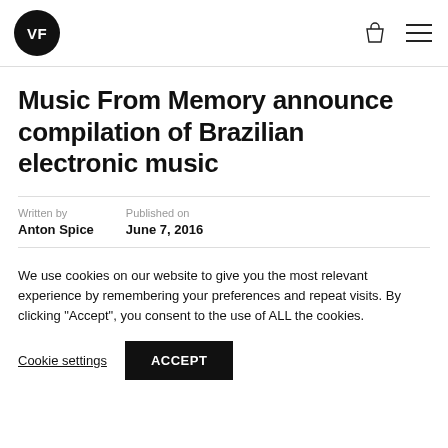VF
Music From Memory announce compilation of Brazilian electronic music
Written by
Anton Spice
Published on
June 7, 2016
We use cookies on our website to give you the most relevant experience by remembering your preferences and repeat visits. By clicking "Accept", you consent to the use of ALL the cookies.
Cookie settings  ACCEPT